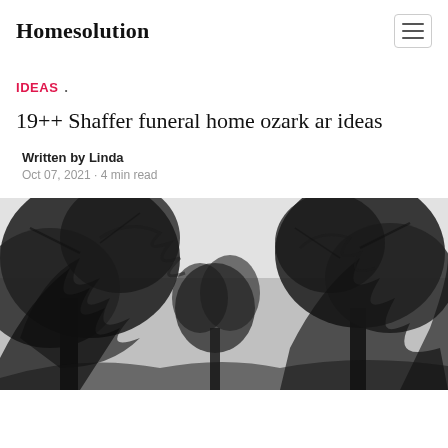Homesolution
IDEAS .
19++ Shaffer funeral home ozark ar ideas
Written by Linda
Oct 07, 2021 · 4 min read
[Figure (photo): Black and white photo of pine trees with branches against a light overcast sky, viewed from below]